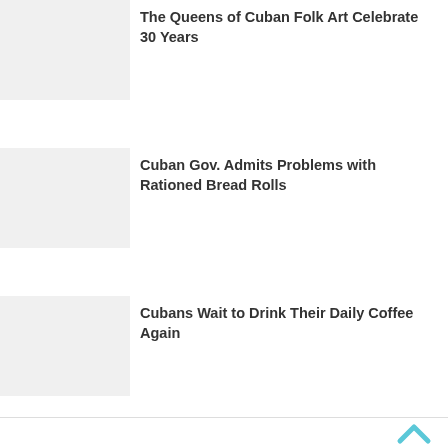The Queens of Cuban Folk Art Celebrate 30 Years
Cuban Gov. Admits Problems with Rationed Bread Rolls
Cubans Wait to Drink Their Daily Coffee Again